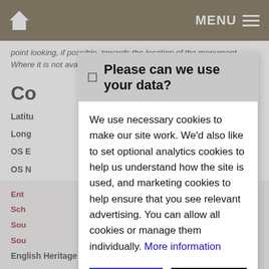MENU
point looking, if possible, towards the location of the monument. Where it is not available, the satellite view is shown instead.
Co
Latitu
Long
OS E
OS N
OS G
Map
Map
Ent
Sch
Sou
Sou
English Heritage Legacy ID: CB 252
[Figure (screenshot): Cookie consent dialog with title 'Please can we use your data?', body text about necessary and optional cookies, a 'More information' link, and two buttons: 'Accept Cookies' (blue) and 'Customise Cookies' (black).]